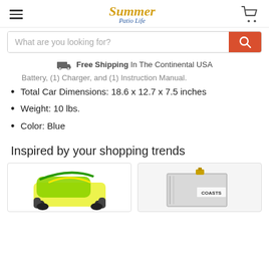Summer Patio Life — navigation header with logo, hamburger menu, cart icon, search bar, and free shipping banner
Battery, (1) Charger, and (1) Instruction Manual.
Total Car Dimensions: 18.6 x 12.7 x 7.5 inches
Weight: 10 lbs.
Color: Blue
Inspired by your shopping trends
[Figure (photo): RC monster truck toy car, yellow and green color scheme]
[Figure (photo): Metallic box/tank product with brass fitting on top, Coasts brand label]